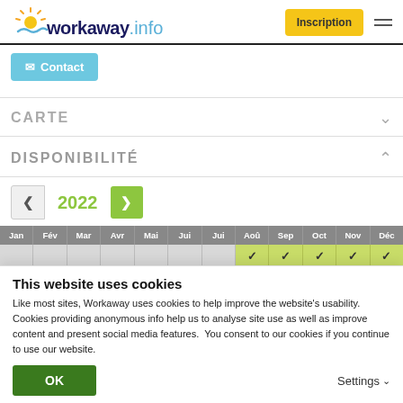[Figure (logo): Workaway.info logo with sun graphic]
Inscription
Contact
CARTE
DISPONIBILITÉ
2022
[Figure (other): Monthly availability calendar for 2022 showing months Jan through Déc, with checkmarks in Aoû, Sep, Oct, Nov, Déc indicating availability]
This website uses cookies
Like most sites, Workaway uses cookies to help improve the website's usability. Cookies providing anonymous info help us to analyse site use as well as improve content and present social media features.  You consent to our cookies if you continue to use our website.
OK
Settings